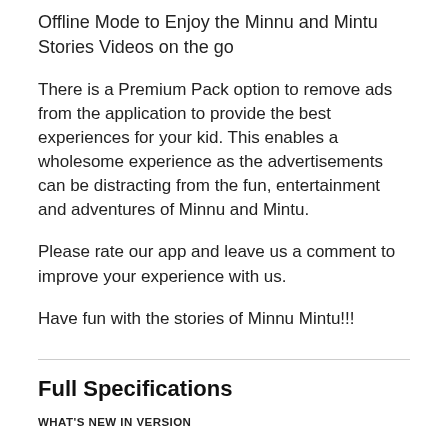Offline Mode to Enjoy the Minnu and Mintu Stories Videos on the go
There is a Premium Pack option to remove ads from the application to provide the best experiences for your kid. This enables a wholesome experience as the advertisements can be distracting from the fun, entertainment and adventures of Minnu and Mintu.
Please rate our app and leave us a comment to improve your experience with us.
Have fun with the stories of Minnu Mintu!!!
Full Specifications
WHAT'S NEW IN VERSION